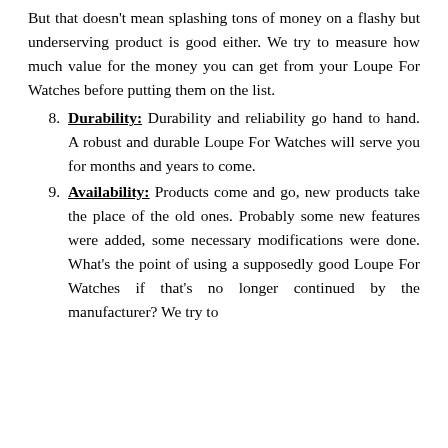But that doesn't mean splashing tons of money on a flashy but underserving product is good either. We try to measure how much value for the money you can get from your Loupe For Watches before putting them on the list.
8. Durability: Durability and reliability go hand to hand. A robust and durable Loupe For Watches will serve you for months and years to come.
9. Availability: Products come and go, new products take the place of the old ones. Probably some new features were added, some necessary modifications were done. What's the point of using a supposedly good Loupe For Watches if that's no longer continued by the manufacturer? We try to